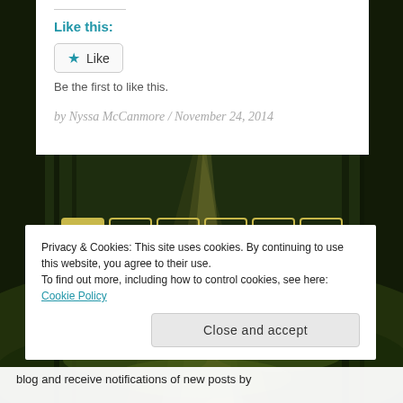Like this:
Like
Be the first to like this.
by Nyssa McCanmore / November 24, 2014
[Figure (infographic): Forest path with sunlight rays, dark green trees in background]
1 2 3 … 42 »
Privacy & Cookies: This site uses cookies. By continuing to use this website, you agree to their use.
To find out more, including how to control cookies, see here: Cookie Policy
Close and accept
blog and receive notifications of new posts by